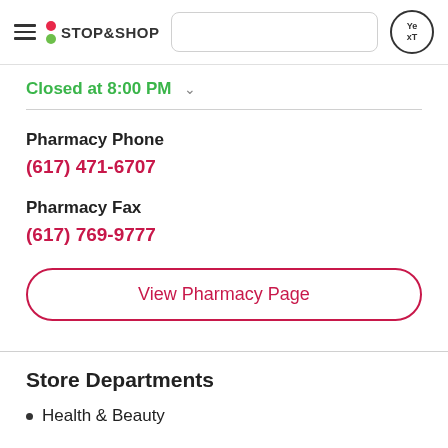[Figure (logo): Stop & Shop logo with red and green dots and hamburger menu, plus search box and Yext circle logo in header]
Closed at 8:00 PM
Pharmacy Phone
(617) 471-6707
Pharmacy Fax
(617) 769-9777
View Pharmacy Page
Store Departments
Health & Beauty